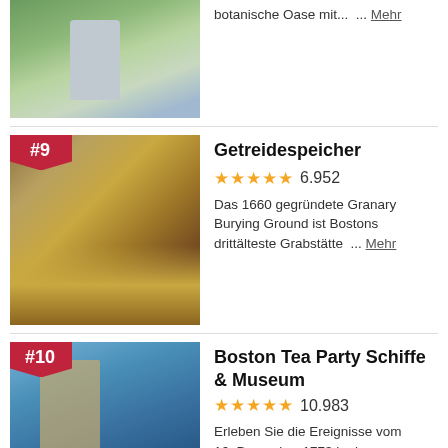[Figure (photo): Partial view of a park with statues and greenery, Boston]
botanische Oase mit...  ... Mehr
[Figure (photo): Granary Burying Ground cemetery with gravestones and fallen autumn leaves, American flag visible, ranked #9]
Getreidespeicher
6.952
Das 1660 gegründete Granary Burying Ground ist Bostons drittälteste Grabstätte | ... Mehr
[Figure (photo): Boston Tea Party ship scene with person in colonial dress, ranked #10]
Boston Tea Party Schiffe & Museum
10.983
Erleben Sie die Ereignisse vom 16. Dezember 1773 in den Boston Tea Party Ships  ...  Mehr